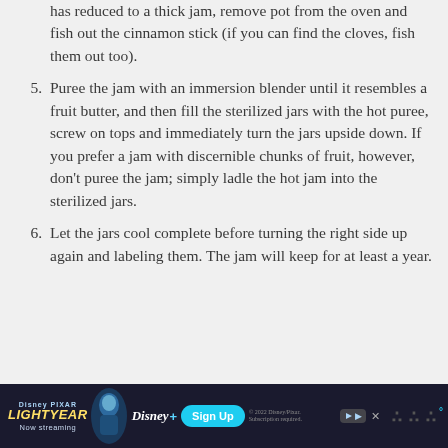has reduced to a thick jam, remove pot from the oven and fish out the cinnamon stick (if you can find the cloves, fish them out too).
5. Puree the jam with an immersion blender until it resembles a fruit butter, and then fill the sterilized jars with the hot puree, screw on tops and immediately turn the jars upside down. If you prefer a jam with discernible chunks of fruit, however, don't puree the jam; simply ladle the hot jam into the sterilized jars.
6. Let the jars cool complete before turning the right side up again and labeling them. The jam will keep for at least a year.
[Figure (other): Disney Pixar Lightyear advertisement banner with 'Sign Up' button for Disney+, shown at the bottom of the page in a dark navy background.]